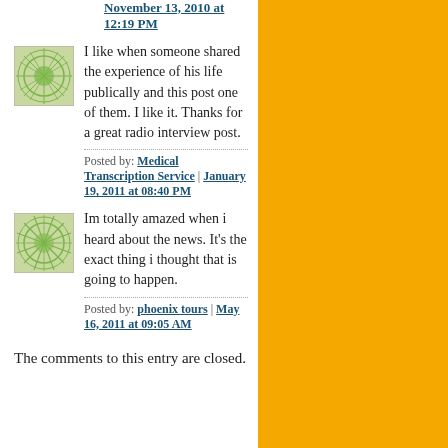November 13, 2010 at 12:19 PM
I like when someone shared the experience of his life publically and this post one of them. I like it. Thanks for a great radio interview post.
Posted by: Medical Transcription Service | January 19, 2011 at 08:40 PM
Im totally amazed when i heard about the news. It's the exact thing i thought that is going to happen.
Posted by: phoenix tours | May 16, 2011 at 09:05 AM
The comments to this entry are closed.